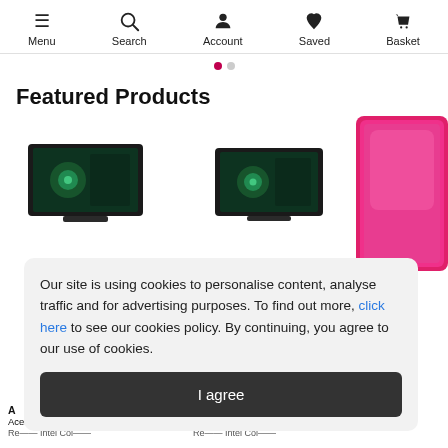Menu | Search | Account | Saved | Basket
Featured Products
[Figure (screenshot): Product images: two dark tablet/laptop devices and one pink case partially visible on the right]
Our site is using cookies to personalise content, analyse traffic and for advertising purposes. To find out more, click here to see our cookies policy. By continuing, you agree to our use of cookies.
I agree
A
Acer Ao 300 Deskrop P3
Acer Ao 300 Deskrop P3
Glid